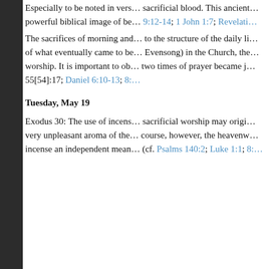Especially to be noted in vers… sacrificial blood. This ancient… powerful biblical image of be… 9:12-14; 1 John 1:7; Revelati… The sacrifices of morning and… to the structure of the daily li… of what eventually came to be… Evensong) in the Church, the… worship. It is important to ob… two times of prayer became j… 55[54]:17; Daniel 6:10-13; 8:…
Tuesday, May 19
Exodus 30: The use of incens… sacrificial worship may origi… very unpleasant aroma of the… course, however, the heavenw… incense an independent mean… (cf. Psalms 140:2; Luke 1:1; 8:…